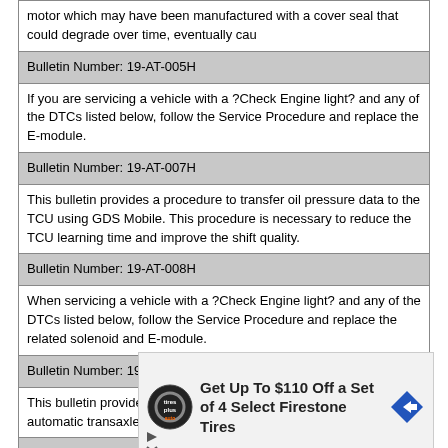| motor which may have been manufactured with a cover seal that could degrade over time, eventually cau |
| Bulletin Number: 19-AT-005H |
| If you are servicing a vehicle with a ?Check Engine light? and any of the DTCs listed below, follow the Service Procedure and replace the E-module. |
| Bulletin Number: 19-AT-007H |
| This bulletin provides a procedure to transfer oil pressure data to the TCU using GDS Mobile. This procedure is necessary to reduce the TCU learning time and improve the shift quality. |
| Bulletin Number: 19-AT-008H |
| When servicing a vehicle with a ?Check Engine light? and any of the DTCs listed below, follow the Service Procedure and replace the related solenoid and E-module. |
| Bulletin Number: 19-AT-014H |
| This bulletin provides a procedure to diagnose an 8-speed automatic transaxle with a harsh and/or delayed shift using GDS. |
| Bulletin Number: 19-BE-004H |
[Figure (infographic): Advertisement: Get Up To $110 Off a Set of 4 Select Firestone Tires, with Tires Plus Auto logo and directional arrow icon]